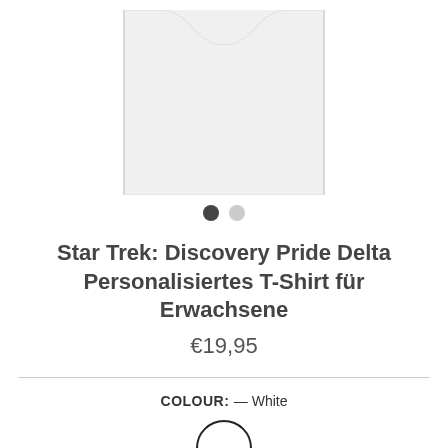[Figure (photo): Partial view of a white T-shirt product image (cropped, showing lower body portion of shirt)]
● ○
Star Trek: Discovery Pride Delta Personalisiertes T-Shirt für Erwachsene
€19,95
COLOUR: — White
[Figure (illustration): White colour swatch circle with dark border]
SIZE:
SM  M  L  XL  XXL